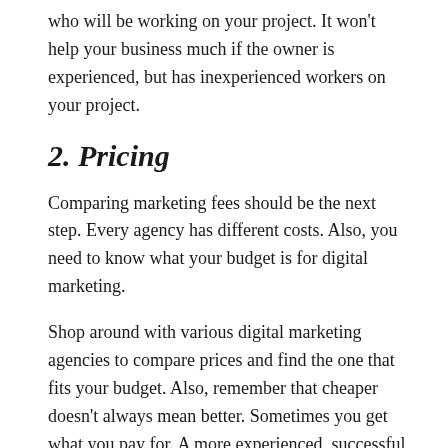who will be working on your project. It won't help your business much if the owner is experienced, but has inexperienced workers on your project.
2. Pricing
Comparing marketing fees should be the next step. Every agency has different costs. Also, you need to know what your budget is for digital marketing.
Shop around with various digital marketing agencies to compare prices and find the one that fits your budget. Also, remember that cheaper doesn't always mean better. Sometimes you get what you pay for. A more experienced, successful digital marketing agency will expect more for its services than a new startup that hasn't achieved anything yet.
3. Reviews
Before you hire, be sure to check into the online customer